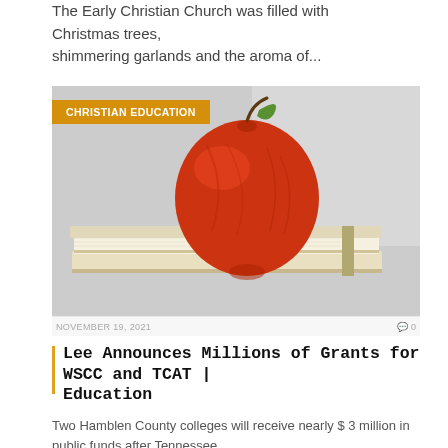The Early Christian Church was filled with Christmas trees, shimmering garlands and the aroma of...
[Figure (photo): A red apple sitting on top of a stack of books against a gray background, with an orange 'CHRISTIAN EDUCATION' category badge in the top-left corner.]
NOVEMBER 19, 2021
0 0
Lee Announces Millions of Grants for WSCC and TCAT | Education
Two Hamblen County colleges will receive nearly $ 3 million in public funds after Tennessee...